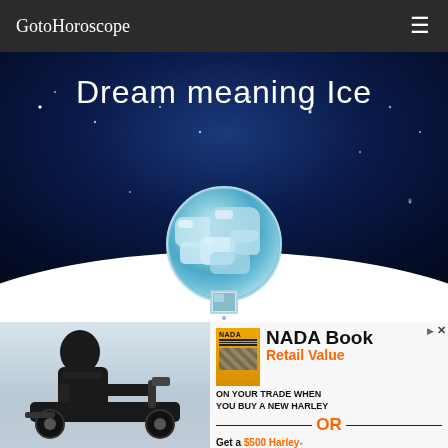GotoHoroscope
Dream meaning Ice
[Figure (illustration): Night sky hero image with title 'Dream meaning Ice', stars scattered on dark blue background, circular ice image in center bottom, and Earth horizon glow at bottom]
[Figure (photo): Advertisement showing motorcyclist on left and NADA Book text on right. Text reads: NADA Book Retail Value ON YOUR TRADE WHEN YOU BUY A NEW HARLEY — OR — Get a $500 Harley-]